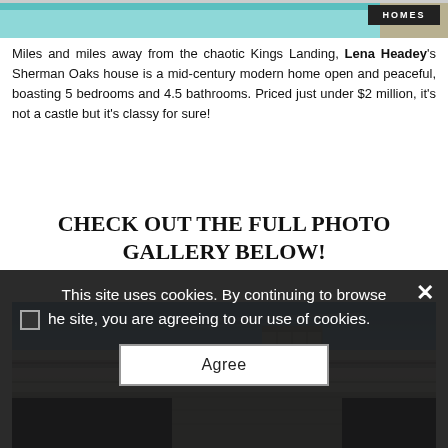[Figure (photo): Top portion of a house/pool image with a dark navigation button labeled HOMES in the top right corner]
Miles and miles away from the chaotic Kings Landing, Lena Headey's Sherman Oaks house is a mid-century modern home open and peaceful, boasting 5 bedrooms and 4.5 bathrooms. Priced just under $2 million, it's not a castle but it's classy for sure!
CHECK OUT THE FULL PHOTO GALLERY BELOW!
[Figure (photo): Exterior photo of a modern mid-century house with flat roof against a twilight/dusk sky with light blue and purple hues]
This site uses cookies. By continuing to browse the site, you are agreeing to our use of cookies.
Agree